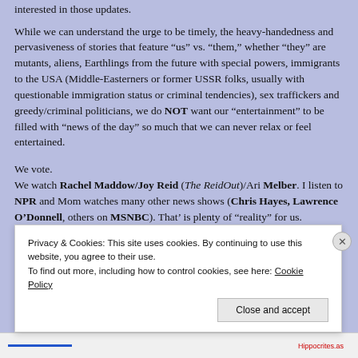interested in those updates.
While we can understand the urge to be timely, the heavy-handedness and pervasiveness of stories that feature “us” vs. “them,” whether “they” are mutants, aliens, Earthlings from the future with special powers, immigrants to the USA (Middle-Easterners or former USSR folks, usually with questionable immigration status or criminal tendencies), sex traffickers and greedy/criminal politicians, we do NOT want our “entertainment” to be filled with “news of the day” so much that we can never relax or feel entertained.
We vote.
We watch Rachel Maddow/Joy Reid (The ReidOut)/Ari Melber. I listen to NPR and Mom watches many other news shows (Chris Hayes, Lawrence O’Donnell, others on MSNBC). That’ is plenty of “reality” for us.
Privacy & Cookies: This site uses cookies. By continuing to use this website, you agree to their use.
To find out more, including how to control cookies, see here: Cookie Policy
Close and accept